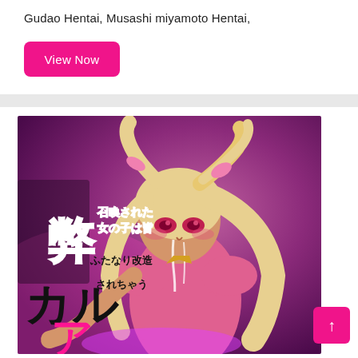Gudao Hentai, Musashi miyamoto Hentai,
[Figure (illustration): A pink button labeled 'View Now' on a magenta/hot-pink rounded rectangle background]
[Figure (illustration): Manga/anime style illustration with Japanese text overlay showing a character with long light hair, pink outfit, red eyes, on purple background. Japanese text reads: 召喚された女の子は皆ふたなり改造されちゃう 弊カルデア]
[Figure (illustration): Pink scroll-to-top button with upward arrow in bottom right corner]